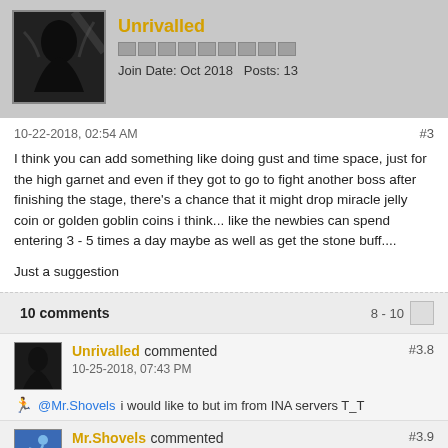Unrivalled
Join Date: Oct 2018   Posts: 13
10-22-2018, 02:54 AM
#3
I think you can add something like doing gust and time space, just for the high garnet and even if they got to go to fight another boss after finishing the stage, there's a chance that it might drop miracle jelly coin or golden goblin coins i think... like the newbies can spend entering 3 - 5 times a day maybe as well as get the stone buff....
Just a suggestion
10 comments
8 - 10
Unrivalled commented
10-25-2018, 07:43 PM
#3.8
@Mr.Shovels i would like to but im from INA servers T_T
Mr.Shovels commented
10-27-2018, 02:19 AM
#3.9
oh... i'm from SEA, that's too bad, we're Servers apart lol